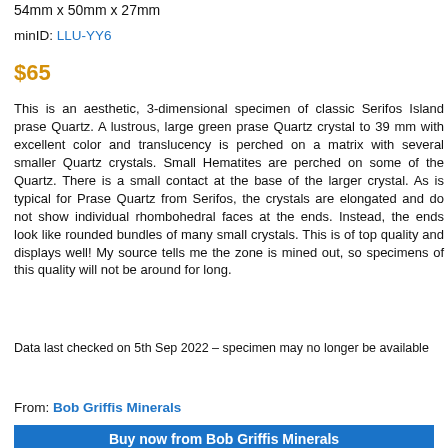54mm x 50mm x 27mm
minID: LLU-YY6
$65
This is an aesthetic, 3-dimensional specimen of classic Serifos Island prase Quartz. A lustrous, large green prase Quartz crystal to 39 mm with excellent color and translucency is perched on a matrix with several smaller Quartz crystals. Small Hematites are perched on some of the Quartz. There is a small contact at the base of the larger crystal. As is typical for Prase Quartz from Serifos, the crystals are elongated and do not show individual rhombohedral faces at the ends. Instead, the ends look like rounded bundles of many small crystals. This is of top quality and displays well! My source tells me the zone is mined out, so specimens of this quality will not be around for long.
Data last checked on 5th Sep 2022 - specimen may no longer be available
From: Bob Griffis Minerals
Buy now from Bob Griffis Minerals